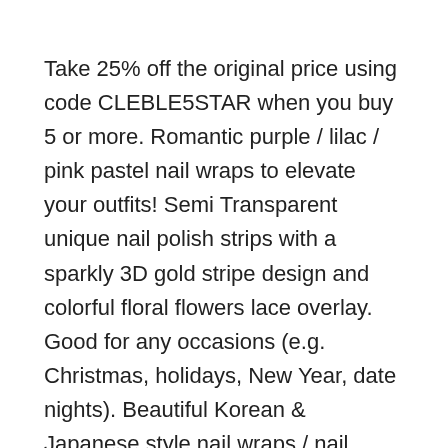Take 25% off the original price using code CLEBLE5STAR when you buy 5 or more. Romantic purple / lilac / pink pastel nail wraps to elevate your outfits! Semi Transparent unique nail polish strips with a sparkly 3D gold stripe design and colorful floral flowers lace overlay. Good for any occasions (e.g. Christmas, holidays, New Year, date nights). Beautiful Korean & Japanese style nail wraps / nail strips / nail stickers for everyone. We offer unique and delicate nail designs at an affordable price. FREE SHIPPING for all US orders!
- GIFT WITH EVERY ORDER: Each order will come with a cute light-grey drawstring bag and a free dual-sided nail file as a gift!